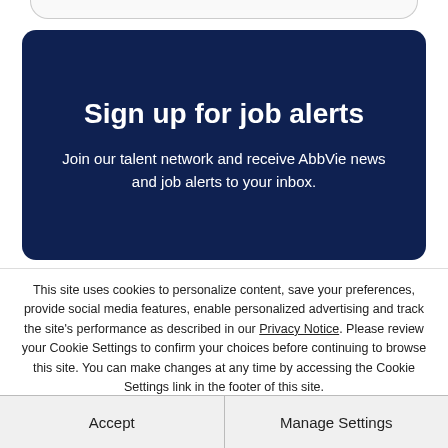Sign up for job alerts
Join our talent network and receive AbbVie news and job alerts to your inbox.
This site uses cookies to personalize content, save your preferences, provide social media features, enable personalized advertising and track the site's performance as described in our Privacy Notice. Please review your Cookie Settings to confirm your choices before continuing to browse this site. You can make changes at any time by accessing the Cookie Settings link in the footer of this site.
Accept
Manage Settings